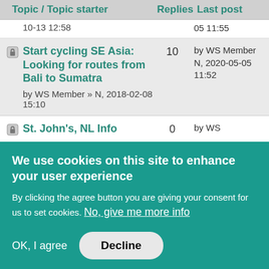| Topic / Topic starter | Replies | Last post |
| --- | --- | --- |
| (partial row) 10-13 12:58 |  | 05 11:55 |
| 🔒 Start cycling SE Asia: Looking for routes from Bali to Sumatra
by WS Member » N, 2018-02-08 15:10 | 10 | by WS Member N, 2020-05-05 11:52 |
| 🔒 St. John's, NL Info | 0 | by WS |
We use cookies on this site to enhance your user experience
By clicking the agree button you are giving your consent for us to set cookies. No, give me more info
OK, I agree   Decline